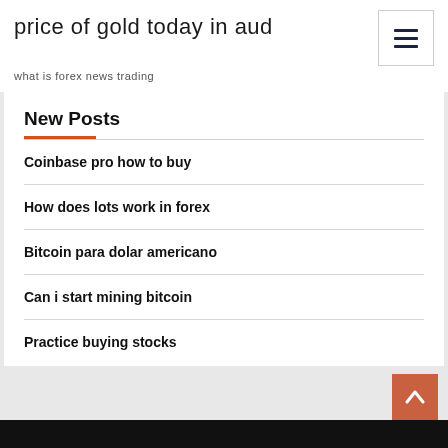price of gold today in aud
what is forex news trading
New Posts
Coinbase pro how to buy
How does lots work in forex
Bitcoin para dolar americano
Can i start mining bitcoin
Practice buying stocks